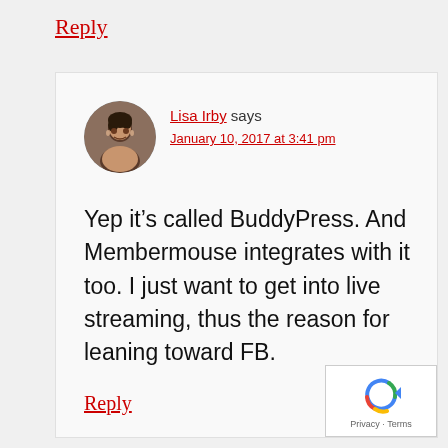Reply
Lisa Irby says
January 10, 2017 at 3:41 pm
Yep it’s called BuddyPress. And Membermouse integrates with it too. I just want to get into live streaming, thus the reason for leaning toward FB.
Reply